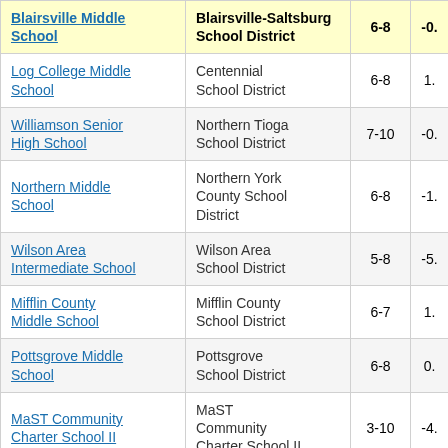| Blairsville Middle School | Blairsville-Saltsburg School District | 6-8 | -0. |
| --- | --- | --- | --- |
| Log College Middle School | Centennial School District | 6-8 | 1. |
| Williamson Senior High School | Northern Tioga School District | 7-10 | -0. |
| Northern Middle School | Northern York County School District | 6-8 | -1. |
| Wilson Area Intermediate School | Wilson Area School District | 5-8 | -5. |
| Mifflin County Middle School | Mifflin County School District | 6-7 | 1. |
| Pottsgrove Middle School | Pottsgrove School District | 6-8 | 0. |
| MaST Community Charter School II | MaST Community Charter School II | 3-10 | -4. |